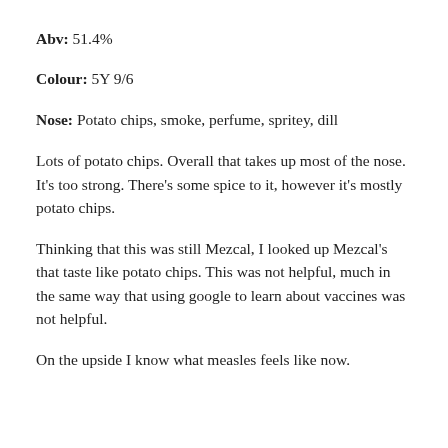Abv: 51.4%
Colour: 5Y 9/6
Nose: Potato chips, smoke, perfume, spritey, dill
Lots of potato chips. Overall that takes up most of the nose. It’s too strong. There’s some spice to it, however it’s mostly potato chips.
Thinking that this was still Mezcal, I looked up Mezcal’s that taste like potato chips. This was not helpful, much in the same way that using google to learn about vaccines was not helpful.
On the upside I know what measles feels like now.